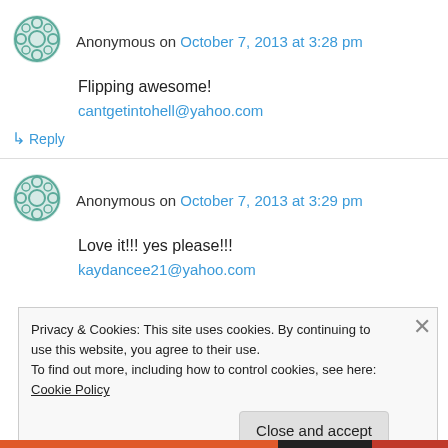Anonymous on October 7, 2013 at 3:28 pm
Flipping awesome!
cantgetintohell@yahoo.com
↳ Reply
Anonymous on October 7, 2013 at 3:29 pm
Love it!!! yes please!!!
kaydancee21@yahoo.com
Privacy & Cookies: This site uses cookies. By continuing to use this website, you agree to their use.
To find out more, including how to control cookies, see here: Cookie Policy
Close and accept